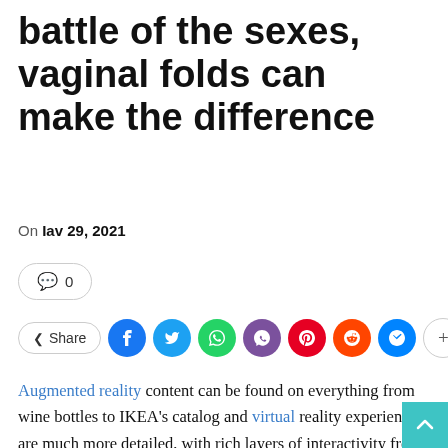battle of the sexes, vaginal folds can make the difference
On Iav 29, 2021
🗨 0
Share [social icons: Facebook, Twitter, WhatsApp, Viber, Pinterest, Reddit, Messenger, More]
Augmented reality content can be found on everything from wine bottles to IKEA's catalog and virtual reality experiences are much more detailed, with rich layers of interactivity from hand cont to gaze triggers, and a VR film has even won an Oscar. With Apple and Google both debuting augm reality platforms (ARKit and ARCore